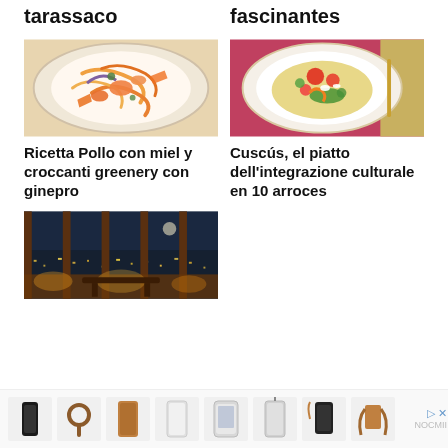tarassaco
fascinantes
[Figure (photo): Top-down view of a colorful pasta dish with seafood on a white plate]
Ricetta Pollo con miel y croccanti greenery con ginepro
[Figure (photo): Top-down view of a colorful salad with tomatoes and vegetables on a white plate]
Cuscús, el piatto dell'integrazione culturale en 10 arroces
[Figure (photo): Interior room with large windows overlooking a city at dusk, warm lighting]
[Figure (photo): Advertisement strip with multiple product thumbnails showing phone cases and leather accessories, branded NOCMII]